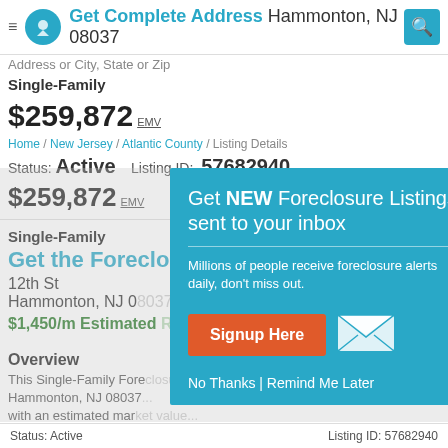Get Complete Address Hammonton, NJ 08037 — Single-Family
$259,872 EMV
Home / New Jersey / Atlantic County / Listing Details
Status: Active   Listing ID: 57682940
$259,872 EMV
Single-Family
Get the Forec[losure Address]
12th St
Hammonton, NJ 0[8037]
$1,450/m Estimated [Rent]
Overview
This Single-Family Forec[losure] Hammonton, NJ 08037[...] with an estimated mar[ket value...]
Save money on this property now.
[Figure (infographic): Email signup modal overlay on teal background: 'Get NEW Foreclosure Listings sent to your inbox. Millions of people receive foreclosure alerts daily, don't miss out. [Signup Here button] [mail icon] No Thanks | Remind Me Later']
Status: Active                    Listing ID: 57682940